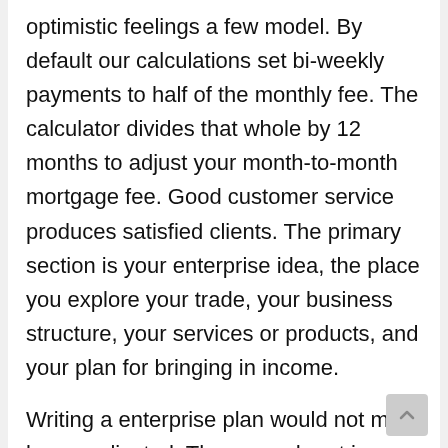optimistic feelings a few model. By default our calculations set bi-weekly payments to half of the monthly fee. The calculator divides that whole by 12 months to adjust your month-to-month mortgage fee. Good customer service produces satisfied clients. The primary section is your enterprise idea, the place you explore your trade, your business structure, your services or products, and your plan for bringing in income.
Writing a enterprise plan would not must be complicated. The second part is your market, the place you describe potential clients and their buying habits. A mortgage fee has four key elements, usually abbreviated as PITI. My Chase Loan allows you to borrow cash from